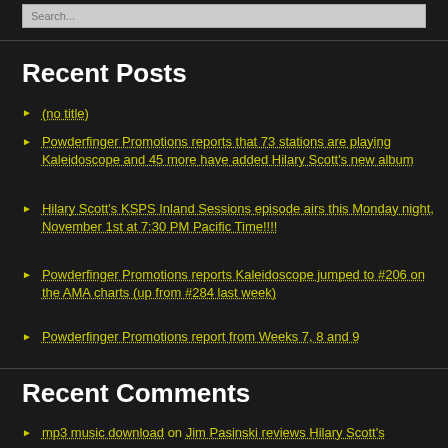Search...
Recent Posts
(no title)
Powderfinger Promotions reports that 73 stations are playing Kaleidoscope and 45 more have added Hilary Scott's new album
Hilary Scott's KSPS Inland Sessions episode airs this Monday night, November 1st at 7:30 PM Pacific Time!!!!
Powderfinger Promotions reports Kaleidoscope jumped to #206 on the AMA charts (up from #284 last week)
Powderfinger Promotions report from Weeks 7, 8 and 9
Recent Comments
mp3 music download on Jim Pasinski reviews Hilary Scott's